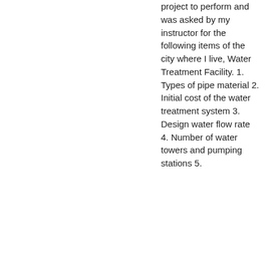project to perform and was asked by my instructor for the following items of the city where I live, Water Treatment Facility. 1. Types of pipe material 2. Initial cost of the water treatment system 3. Design water flow rate 4. Number of water towers and pumping stations 5.